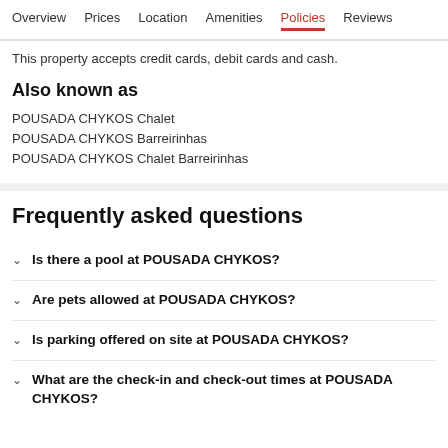Overview  Prices  Location  Amenities  Policies  Reviews
This property accepts credit cards, debit cards and cash.
Also known as
POUSADA CHYKOS Chalet
POUSADA CHYKOS Barreirinhas
POUSADA CHYKOS Chalet Barreirinhas
Frequently asked questions
Is there a pool at POUSADA CHYKOS?
Are pets allowed at POUSADA CHYKOS?
Is parking offered on site at POUSADA CHYKOS?
What are the check-in and check-out times at POUSADA CHYKOS?